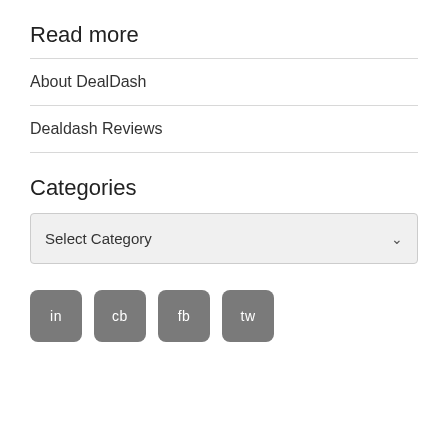Read more
About DealDash
Dealdash Reviews
Categories
Select Category
[Figure (other): Four social media icon buttons labeled: in, cb, fb, tw]